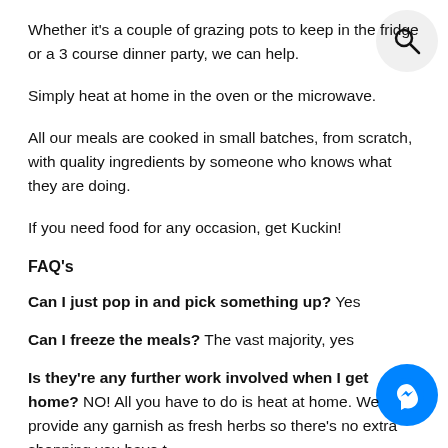Whether it's a couple of grazing pots to keep in the fridge or a 3 course dinner party, we can help.
Simply heat at home in the oven or the microwave.
All our meals are cooked in small batches, from scratch, with quality ingredients by someone who knows what they are doing.
If you need food for any occasion, get Kuckin!
FAQ's
Can I just pop in and pick something up? Yes
Can I freeze the meals? The vast majority, yes
Is they're any further work involved when I get home? NO! All you have to do is heat at home. We provide any garnish as fresh herbs so there's no extra shopping you have t…
Do you do meal prep? All of our meals are cooked in house…